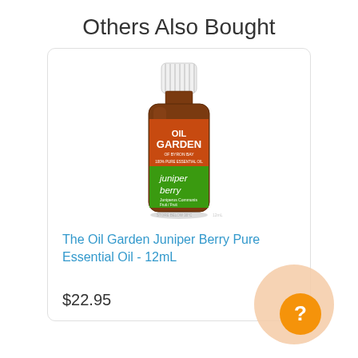Others Also Bought
[Figure (photo): Amber glass bottle of Oil Garden Juniper Berry Pure Essential Oil 12mL with white ribbed cap and green label]
The Oil Garden Juniper Berry Pure Essential Oil - 12mL
$22.95